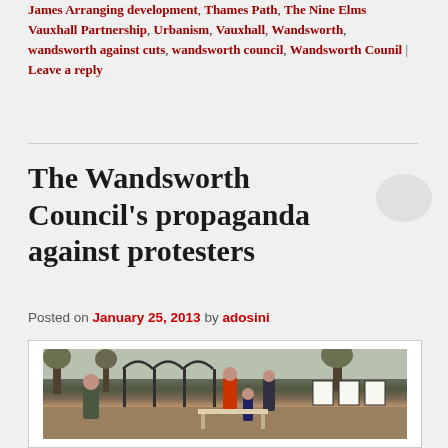James Arranging development, Thames Path, The Nine Elms Vauxhall Partnership, Urbanism, Vauxhall, Wandsworth, wandsworth against cuts, wandsworth council, Wandsworth Counil | Leave a reply
The Wandsworth Council's propaganda against protesters
Posted on January 25, 2013 by adosini
[Figure (photo): Outdoor protest scene with people and signs near a metal fence in a park-like setting]